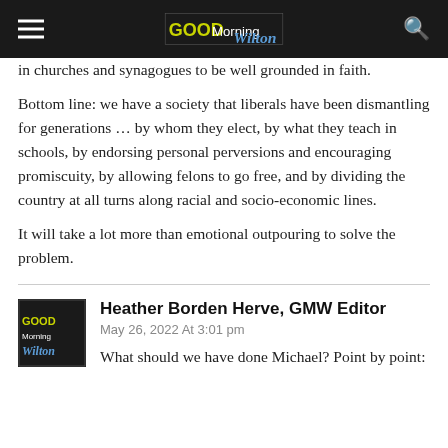GOOD Morning Wilton
in churches and synagogues to be well grounded in faith.
Bottom line: we have a society that liberals have been dismantling for generations … by whom they elect, by what they teach in schools, by endorsing personal perversions and encouraging promiscuity, by allowing felons to go free, and by dividing the country at all turns along racial and socio-economic lines.
It will take a lot more than emotional outpouring to solve the problem.
Heather Borden Herve, GMW Editor
May 26, 2022 At 3:01 pm
What should we have done Michael? Point by point: